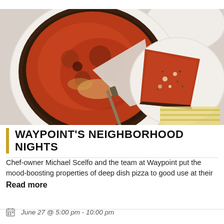[Figure (photo): Overhead shot of a Chicago deep dish pizza in a round pan with one slice removed and placed on a white plate next to it, on a marble surface]
WAYPOINT'S NEIGHBORHOOD NIGHTS
Chef-owner Michael Scelfo and the team at Waypoint put the mood-boosting properties of deep dish pizza to good use at their
Read more
June 27 @ 5:00 pm - 10:00 pm